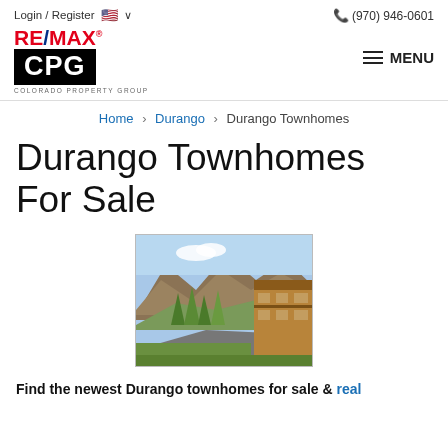Login / Register   🇺🇸 ∨    ☎ (970) 946-0601
[Figure (logo): RE/MAX CPG Colorado Property Group logo with red RE/MAX text and black CPG box]
MENU
Home › Durango › Durango Townhomes
Durango Townhomes For Sale
[Figure (photo): Photo of Durango townhomes with mountain backdrop, green trees, and wood-sided buildings along a road]
Find the newest Durango townhomes for sale & real